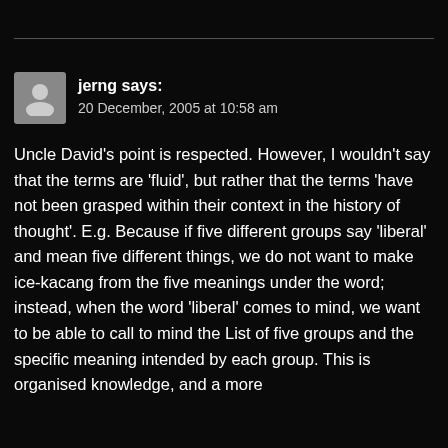jerng says:
20 December, 2005 at 10:58 am
Uncle David's point is respected. However, I wouldn't say that the terms are 'fluid', but rather that the terms 'have not been grasped within their context in the history of thought'. E.g. Because if five different groups say 'liberal' and mean five different things, we do not want to make ice-kacang from the five meanings under the word; instead, when the word 'liberal' comes to mind, we want to be able to call to mind the List of five groups and the specific meaning intended by each group. This is organised knowledge, and a more